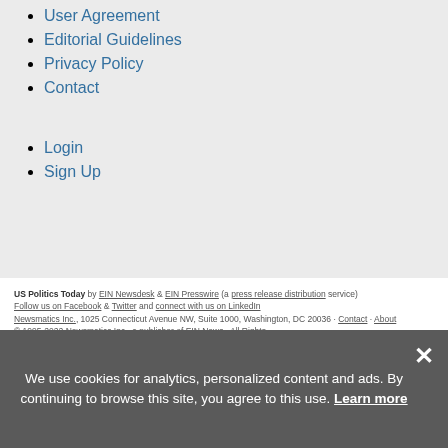User Agreement
Editorial Guidelines
Privacy Policy
Contact
Login
Sign Up
US Politics Today by EIN Newsdesk & EIN Presswire (a press release distribution service) Follow us on Facebook & Twitter and connect with us on LinkedIn Newsmatics Inc., 1025 Connecticut Avenue NW, Suite 1000, Washington, DC 20036 · Contact · About © 1995-2022 Newsmatics Inc., a publisher of EIN News · All Rights
We use cookies for analytics, personalized content and ads. By continuing to browse this site, you agree to this use. Learn more